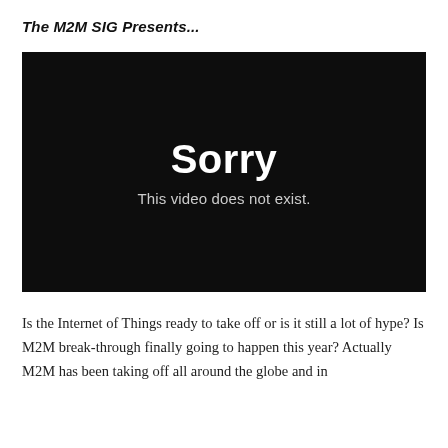The M2M SIG Presents...
[Figure (screenshot): Black video player error screen showing 'Sorry' in large bold white text and 'This video does not exist.' in smaller white text below.]
Is the Internet of Things ready to take off or is it still a lot of hype? Is M2M break-through finally going to happen this year? Actually M2M has been taking off all around the globe and in